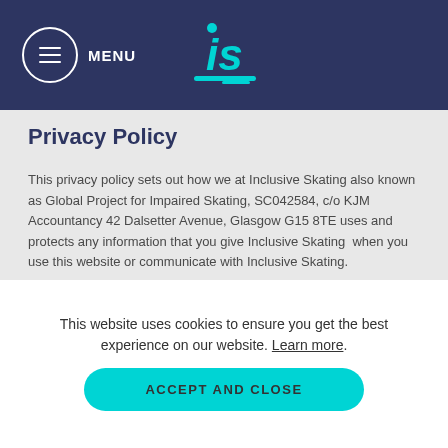MENU — IS (Inclusive Skating logo)
Privacy Policy
This privacy policy sets out how we at Inclusive Skating also known as Global Project for Impaired Skating, SC042584, c/o KJM Accountancy 42 Dalsetter Avenue, Glasgow G15 8TE uses and protects any information that you give Inclusive Skating  when you use this website or communicate with Inclusive Skating.
Inclusive Skating is committed to ensuring that your privacy is protected. Should we ask you to provide certain information by which you can be identified when using this website, then you can be assured that it will only be used in accordance with this privacy statement.
This website uses cookies to ensure you get the best experience on our website. Learn more.